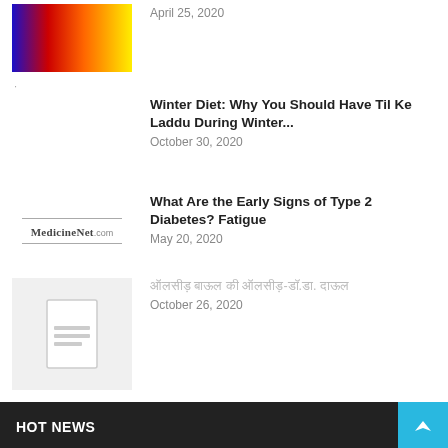April 25, 2020
[Figure (illustration): Colorful gradient thumbnail image with blue, red, yellow colors]
·
Winter Diet: Why You Should Have Til Ke Laddu During Winter...
October 30, 2020
[Figure (logo): MedicineNet.com logo with horizontal lines above and below]
What Are the Early Signs of Type 2 Diabetes? Fatigue
May 20, 2020
[Figure (illustration): Document placeholder thumbnail with lines on grey background]
ऑलसीड़ बाऊल की ऑलसीड़-डॉ.डा. दाऊल
October 26, 2020
Load more
HOT NEWS